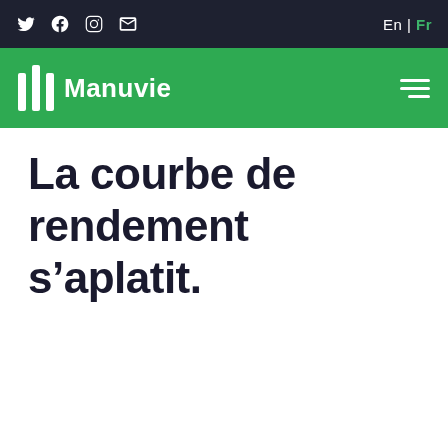Twitter Facebook Instagram Email | En | Fr
[Figure (logo): Manuvie logo with three vertical bars icon and 'Manuvie' text on green navigation bar]
La courbe de rendement s’aplatit.